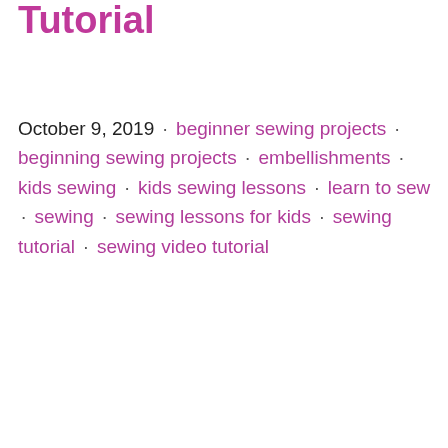Tutorial
October 9, 2019 · beginner sewing projects · beginning sewing projects · embellishments · kids sewing · kids sewing lessons · learn to sew · sewing · sewing lessons for kids · sewing tutorial · sewing video tutorial